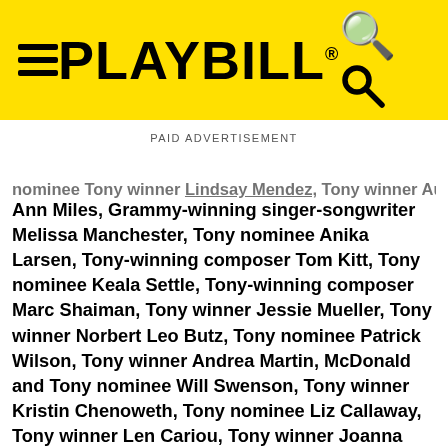PLAYBILL
PAID ADVERTISEMENT
nominee Tony winner Lindsay Mendez, Tony winner Audra Ann Miles, Grammy-winning singer-songwriter Melissa Manchester, Tony nominee Anika Larsen, Tony-winning composer Tom Kitt, Tony nominee Keala Settle, Tony-winning composer Marc Shaiman, Tony winner Jessie Mueller, Tony winner Norbert Leo Butz, Tony nominee Patrick Wilson, Tony winner Andrea Martin, McDonald and Tony nominee Will Swenson, Tony winner Kristin Chenoweth, Tony nominee Liz Callaway, Tony winner Len Cariou, Tony winner Joanna Gleason, Chip Zien, Sierra Boggess, Tony nominee Ramin Karimloo, Tony winner Betty Buckley, Tony winner Jason Alexander, Tony winner Andrew Lloyd Webber, Tony nominee Jeremy Jordan, Tony